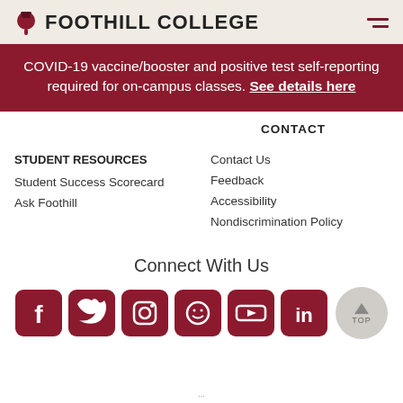FOOTHILL COLLEGE
COVID-19 vaccine/booster and positive test self-reporting required for on-campus classes. See details here
CONTACT
STUDENT RESOURCES
Contact Us
Feedback
Accessibility
Nondiscrimination Policy
Student Success Scorecard
Ask Foothill
Connect With Us
[Figure (illustration): Social media icons: Facebook, Twitter, Instagram, Flickr/Smile, YouTube, LinkedIn — all in dark red rounded squares. A circular 'TOP' back-to-top button on the right.]